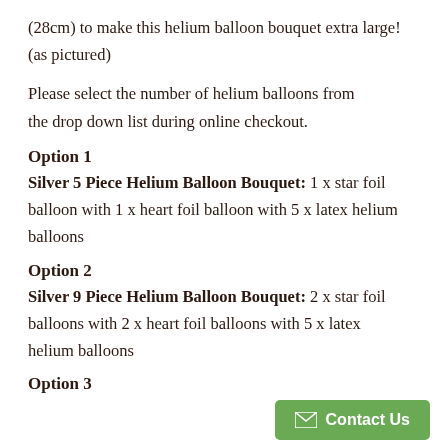(28cm) to make this helium balloon bouquet extra large! (as pictured)
Please select the number of helium balloons from the drop down list during online checkout.
Option 1
Silver 5 Piece Helium Balloon Bouquet: 1 x star foil balloon with 1 x heart foil balloon with 5 x latex helium balloons
Option 2
Silver 9 Piece Helium Balloon Bouquet: 2 x star foil balloons with 2 x heart foil balloons with 5 x latex helium balloons
Option 3